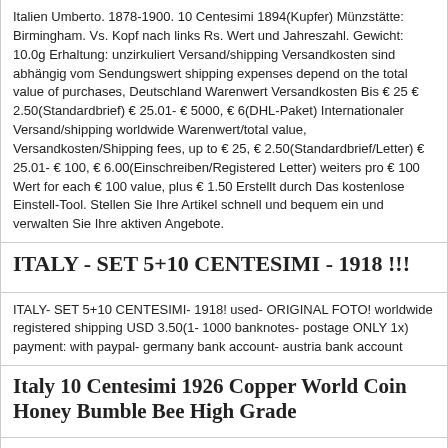Italien Umberto. 1878-1900. 10 Centesimi 1894(Kupfer) Münzstätte: Birmingham. Vs. Kopf nach links Rs. Wert und Jahreszahl. Gewicht: 10.0g Erhaltung: unzirkuliert Versand/shipping Versandkosten sind abhängig vom Sendungswert shipping expenses depend on the total value of purchases, Deutschland Warenwert Versandkosten Bis € 25 € 2.50(Standardbrief) € 25.01- € 5000, € 6(DHL-Paket) Internationaler Versand/shipping worldwide Warenwert/total value, Versandkosten/Shipping fees, up to € 25, € 2.50(Standardbrief/Letter) € 25.01- € 100, € 6.00(Einschreiben/Registered Letter) weiters pro € 100 Wert for each € 100 value, plus € 1.50 Erstellt durch Das kostenlose Einstell-Tool. Stellen Sie Ihre Artikel schnell und bequem ein und verwalten Sie Ihre aktiven Angebote.
ITALY - SET 5+10 CENTESIMI - 1918 !!!
ITALY- SET 5+10 CENTESIMI- 1918! used- ORIGINAL FOTO! worldwide registered shipping USD 3.50(1- 1000 banknotes- postage ONLY 1x) payment: with paypal- germany bank account- austria bank account
Italy 10 Centesimi 1926 Copper World Coin Honey Bumble Bee High Grade
1926- 10 Centesimi Coin Italy KM#60 Copper. 23 mm diameter. The coin note that is pictured is the item that you will recieve, We let you determine the grade of the coin by the photos. We do not grade them! We do not enhance or alter the photos! The photo may be a little lighter or darker than the actual item. We take great pride in packing your items to ensure that they have a safe journey! Please inquire about shipping